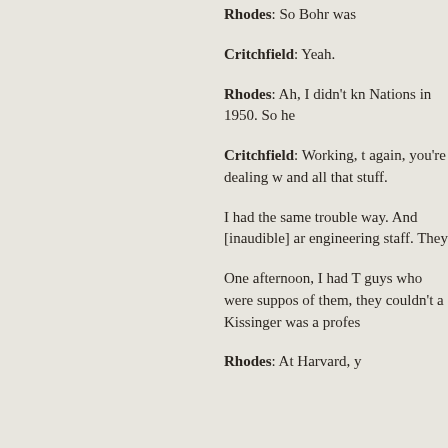Rhodes: So Bohr was
Critchfield: Yeah.
Rhodes: Ah, I didn't kn Nations in 1950. So he
Critchfield: Working, t again, you're dealing w and all that stuff.
I had the same trouble way. And [inaudible] ar engineering staff. They
One afternoon, I had T guys who were suppos of them, they couldn't a Kissinger was a profes
Rhodes: At Harvard, y